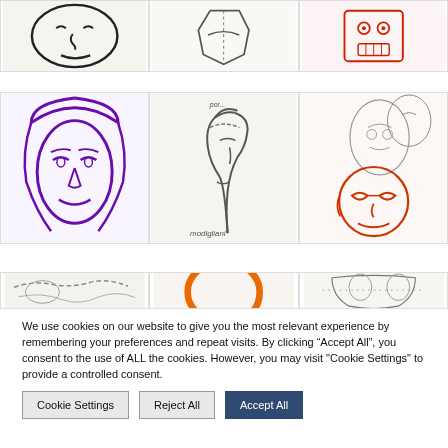[Figure (photo): Top strip showing three sketch drawings: a face with black marker, a geometric outline figure, and a red outline robot-like drawing]
[Figure (photo): Middle row of three sketch drawings: a purple marker portrait face, a pencil profile sketch labeled 'modigliani', and red/pencil overlapping face sketches]
[Figure (photo): Partial bottom strip showing three more sketch drawings including one with an orange circle shape]
We use cookies on our website to give you the most relevant experience by remembering your preferences and repeat visits. By clicking “Accept All”, you consent to the use of ALL the cookies. However, you may visit "Cookie Settings" to provide a controlled consent.